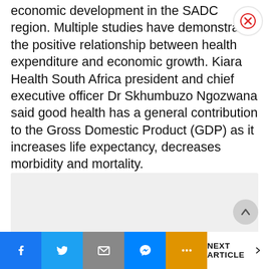economic development in the SADC region. Multiple studies have demonstrated the positive relationship between health expenditure and economic growth. Kiara Health South Africa president and chief executive officer Dr Skhumbuzo Ngozwana said good health has a general contribution to the Gross Domestic Product (GDP) as it increases life expectancy, decreases morbidity and mortality.
[Figure (other): Grey advertisement/content placeholder box]
NEXT ARTICLE >